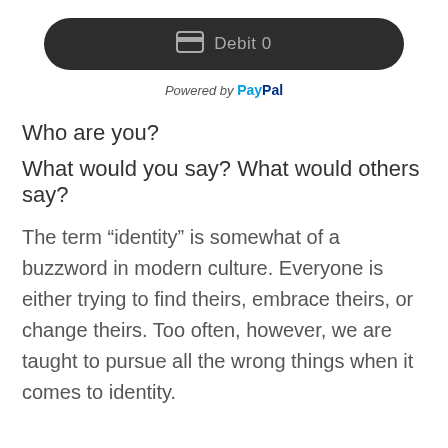[Figure (screenshot): Dark rounded button with a card/debit icon and text 'Debit 0' in gray]
Powered by PayPal
Who are you?
What would you say? What would others say?
The term “identity” is somewhat of a buzzword in modern culture. Everyone is either trying to find theirs, embrace theirs, or change theirs. Too often, however, we are taught to pursue all the wrong things when it comes to identity.